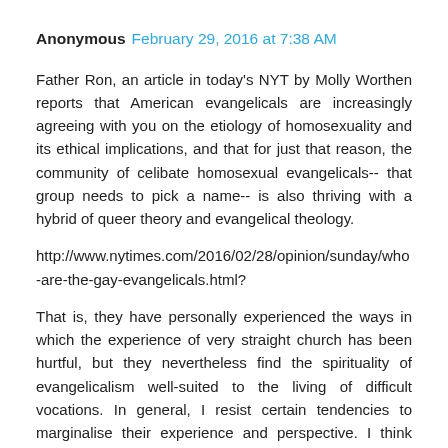Anonymous February 29, 2016 at 7:38 AM
Father Ron, an article in today's NYT by Molly Worthen reports that American evangelicals are increasingly agreeing with you on the etiology of homosexuality and its ethical implications, and that for just that reason, the community of celibate homosexual evangelicals-- that group needs to pick a name-- is also thriving with a hybrid of queer theory and evangelical theology.
http://www.nytimes.com/2016/02/28/opinion/sunday/who-are-the-gay-evangelicals.html?
That is, they have personally experienced the ways in which the experience of very straight church has been hurtful, but they nevertheless find the spirituality of evangelicalism well-suited to the living of difficult vocations. In general, I resist certain tendencies to marginalise their experience and perspective. I think that, when everyone absorbs all of the implications of civil SSM, both will be